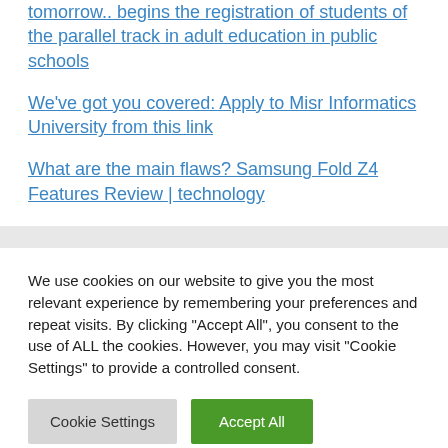tomorrow.. begins the registration of students of the parallel track in adult education in public schools
We've got you covered: Apply to Misr Informatics University from this link
What are the main flaws? Samsung Fold Z4 Features Review | technology
We use cookies on our website to give you the most relevant experience by remembering your preferences and repeat visits. By clicking "Accept All", you consent to the use of ALL the cookies. However, you may visit "Cookie Settings" to provide a controlled consent.